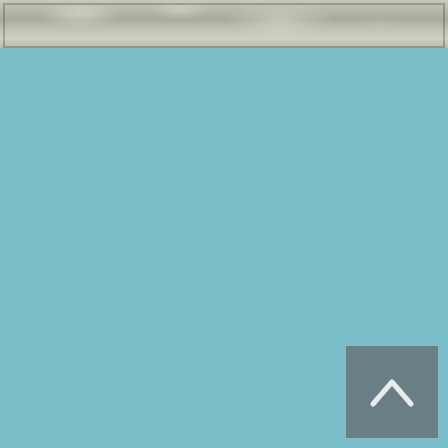[Figure (photo): A blurry nature or outdoor photo strip at the top of the page, showing muted greens, grays, and whites — possibly a cloudy sky or foliage. The image appears at the very top of the page and is cropped to a narrow strip.]
[Figure (other): A gray square button with a white upward-pointing chevron (caret/arrow) in the bottom-right corner of the page, serving as a back-to-top navigation button.]